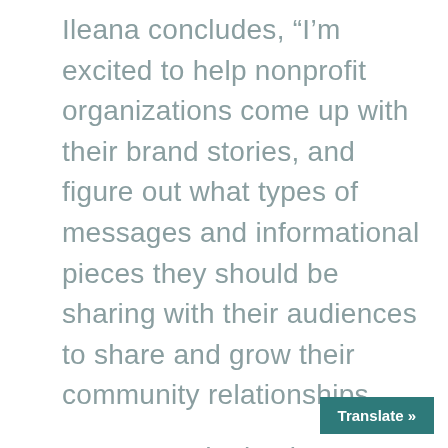Ileana concludes, “I’m excited to help nonprofit organizations come up with their brand stories, and figure out what types of messages and informational pieces they should be sharing with their audiences to share and grow their community relationships.
“I’ve started a business myself, so I know what it’s like to work with limited resources and a small team. I think I bring a realistic lens to the work of SVP Boulder County and its nonprofit participants.”
Translate »